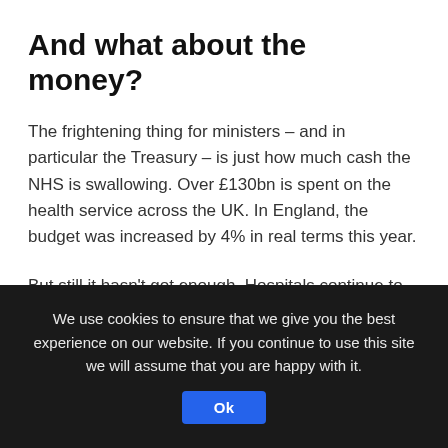And what about the money?
The frightening thing for ministers – and in particular the Treasury – is just how much cash the NHS is swallowing. Over £130bn is spent on the health service across the UK. In England, the budget was increased by 4% in real terms this year.
But still it hasn't got enough. Hospitals continue to rack up deficits. And while the NHS will undoubtedly still manage to balance its books by year end in March because of surpluses elsewhere, the prospects for the next financial year are much gloomier.
The 2017-18 year will see a much smaller rise in the budget –
We use cookies to ensure that we give you the best experience on our website. If you continue to use this site we will assume that you are happy with it.